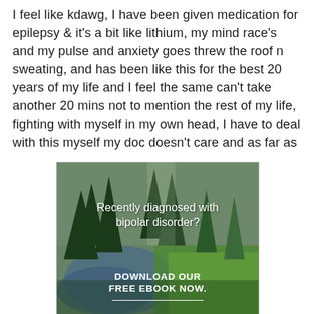I feel like kdawg, I have been given medication for epilepsy & it's a bit like lithium, my mind race's and my pulse and anxiety goes threw the roof n sweating, and has been like this for the best 20 years of my life and I feel the same can't take another 20 mins not to mention the rest of my life, fighting with myself in my own head, I have to deal with this myself my doc doesn't care and as far as
[Figure (photo): Advertisement image showing a forest/nature scene with a stream and green trees. Text overlay reads 'Recently diagnosed with bipolar disorder? DOWNLOAD OUR FREE EBOOK NOW.' with an underline beneath the bottom text.]
advertisement